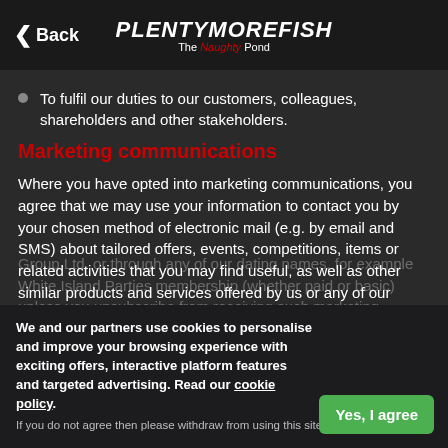Back | PlentyMoreFish The Naughty Pond
To fulfil our duties to our customers, colleagues, shareholders and other stakeholders.
Marketing communications
Where you have opted into marketing communications, you agree that we may use your information to contact you by your chosen method of electronic mail (e.g. by email and SMS) about tailored offers, events, competitions, items or related activities that you may find useful, as well as other similar products and services offered by us or any of our related entities from time to time. We do not sell, trade or rent your personal information to other companies and partners.
We and our partners use cookies to personalise and improve your browsing experience with exciting offers, interactive platform features and targeted advertising. Read our cookie policy.
If you do not agree then please withdraw from using this site.